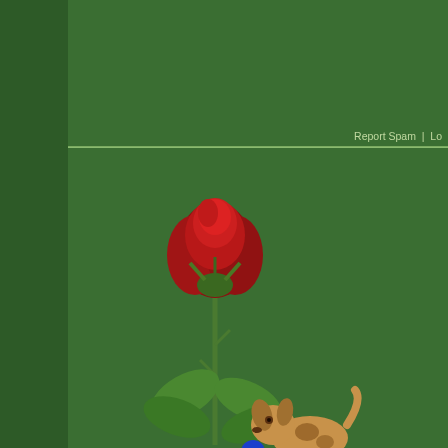Report Spam | Lo
[Figure (illustration): Animated pixel-art red rose with green stem and leaves on dark green background]
[Figure (illustration): Animated pixel-art brown dog walking with a blue ball on dark green background]
Muslim Villa Homepage, read-only Quran-alone forum run by MV Team
For political write-ups visit Zainab's Lounge
Learn via images @ MV Pinterest boards
Zainab_M
TEAM MV
Founder
Admin
Hero Member
Site Owner
Posts: 5606
Re: Masjid al-Jinn and Wadi-e-Jinn
« Reply #4 on: February 08, 2022, 05:14:45 pm »
No, the Quran does not confirm that point.  It only